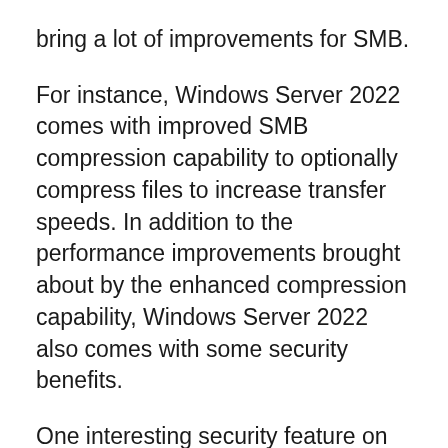bring a lot of improvements for SMB.
For instance, Windows Server 2022 comes with improved SMB compression capability to optionally compress files to increase transfer speeds. In addition to the performance improvements brought about by the enhanced compression capability, Windows Server 2022 also comes with some security benefits.
One interesting security feature on Windows Server 2022 is SMB over QUIC. This new technology offers an “SMB VPN” for remote workers, mobile device users, and high-security organizations. The Server encrypts all SMB traffic, which means that nothing is exposed to the network. So, instead of using